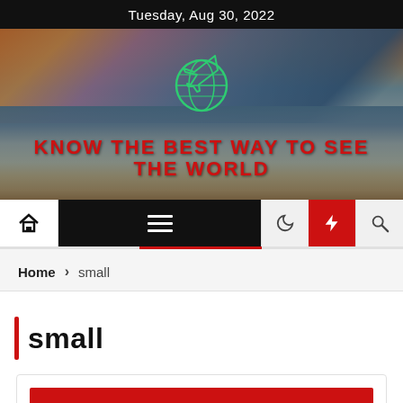Tuesday, Aug 30, 2022
[Figure (illustration): Website hero banner with beach/ocean sunset background, green globe-with-plane logo icon, and red bold title text 'KNOW THE BEST WAY TO SEE THE WORLD']
[Figure (screenshot): Navigation bar with home icon (white background), hamburger menu icon (black background), moon icon (light background), lightning bolt icon (red background), search icon (light background)]
Home > small
small
[Figure (screenshot): Partial red image/card placeholder at bottom of page]